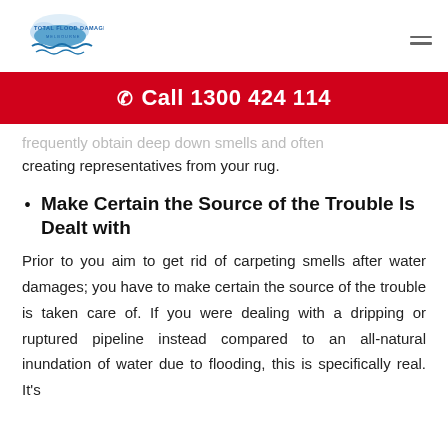[Figure (logo): Total Flood Damage Melbourne logo with cloud and water wave graphic]
Call 1300 424 114
frequently obtain deep down smells and often creating representatives from your rug.
Make Certain the Source of the Trouble Is Dealt with
Prior to you aim to get rid of carpeting smells after water damages; you have to make certain the source of the trouble is taken care of. If you were dealing with a dripping or ruptured pipeline instead compared to an all-natural inundation of water due to flooding, this is specifically real. It's